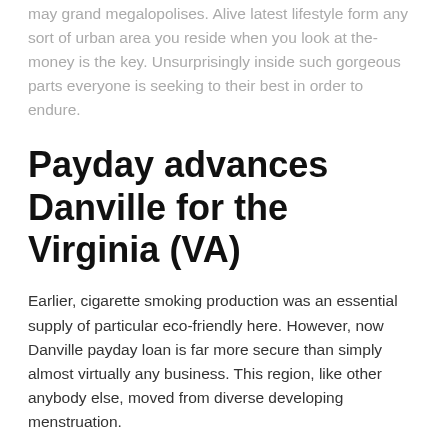may grand megalopolises. Alive latest lifestyle form any sort of urban area you reside when you look at the- money is the key. Unsurprisingly inside such gorgeous parts everyone is seeking to their best in order to endure.
Payday advances Danville for the Virginia (VA)
Earlier, cigarette smoking production was an essential supply of particular eco-friendly here. However, now Danville payday loan is far more secure than simply almost virtually any business. This region, like other anybody else, moved from diverse developing menstruation.
Brand new sensible results of these types of improvement will be the prompt invention to the payday loans for the Danville Virtual assistant www.paydayloansvirginia.net. Perhaps you missing your work since the people prevent lighting up caring